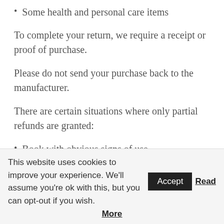Some health and personal care items
To complete your return, we require a receipt or proof of purchase.
Please do not send your purchase back to the manufacturer.
There are certain situations where only partial refunds are granted:
Book with obvious signs of use
CD, DVD, VHS tape, software, video game, cassette
This website uses cookies to improve your experience. We'll assume you're ok with this, but you can opt-out if you wish. Accept Read More